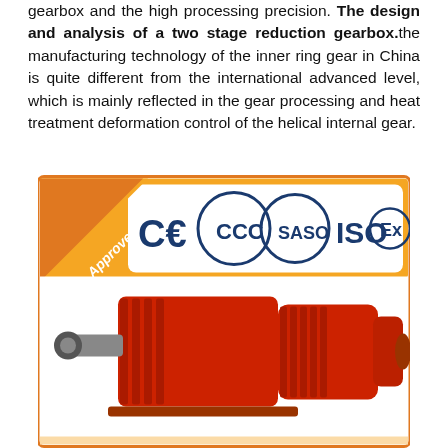gearbox and the high processing precision. The design and analysis of a two stage reduction gearbox.the manufacturing technology of the inner ring gear in China is quite different from the international advanced level, which is mainly reflected in the gear processing and heat treatment deformation control of the helical internal gear.
[Figure (photo): Photo of a red two-stage reduction gearbox motor unit with certification logos (CE, CCC, SASO, ISO, Ex) and an orange 'Approved' banner in the top-left corner.]